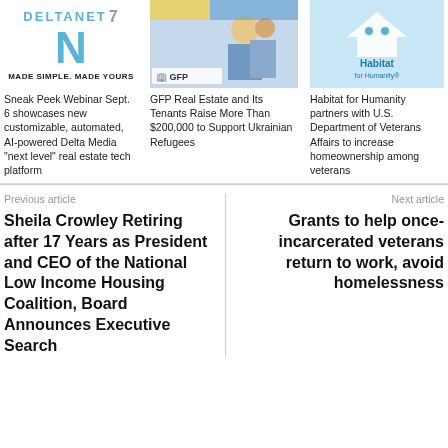[Figure (logo): DeltaNet 7 logo with large N and tagline MADE SIMPLE. MADE YOURS]
Sneak Peek Webinar Sept. 6 showcases new customizable, automated, AI-powered Delta Media “next level” real estate tech platform
[Figure (photo): GFP Real Estate promotional image with people and GFP logo]
GFP Real Estate and Its Tenants Raise More Than $200,000 to Support Ukrainian Refugees
[Figure (logo): Habitat for Humanity logo on light blue background]
Habitat for Humanity partners with U.S. Department of Veterans Affairs to increase homeownership among veterans
Previous article
Sheila Crowley Retiring after 17 Years as President and CEO of the National Low Income Housing Coalition, Board Announces Executive Search
Next article
Grants to help once-incarcerated veterans return to work, avoid homelessness